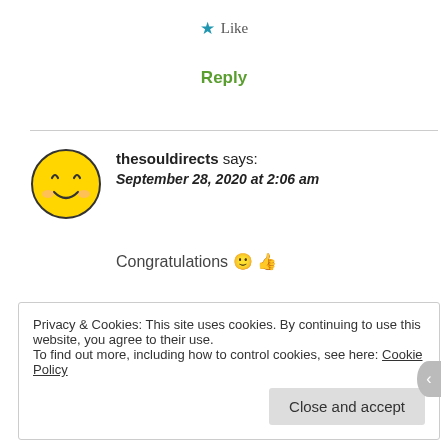★ Like
Reply
thesouldirects says: September 28, 2020 at 2:06 am
Congratulations 🙂 👍
Privacy & Cookies: This site uses cookies. By continuing to use this website, you agree to their use.
To find out more, including how to control cookies, see here: Cookie Policy
Close and accept